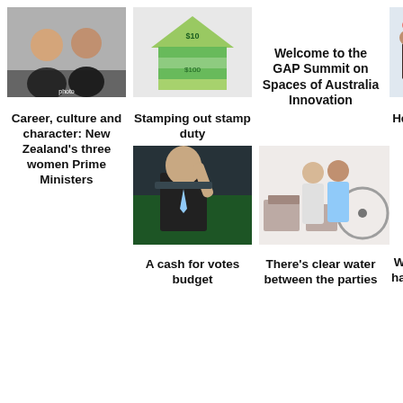[Figure (photo): Two young people smiling at each other, one in a black jacket]
[Figure (photo): House made of Australian currency notes]
Welcome to the GAP Summit on Spaces of Australia Innovation
[Figure (photo): Children and adults looking at a display board in a classroom or gallery]
Career, culture and character: New Zealand's three women Prime Ministers
Stamping out stamp duty
Here's how to renew Australia's democracy
[Figure (photo): Man in suit speaking or gesturing in a parliament-like setting]
[Figure (photo): Couple moving boxes, with a bicycle in the background]
Where New Zealand has led Australia will follow
A cash for votes budget
There's clear water between the parties